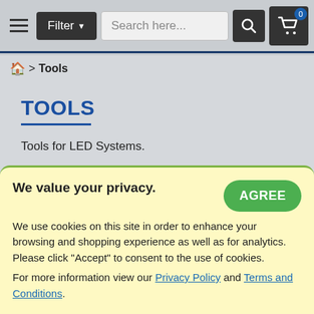Filter | Search here... [search icon] [cart icon]
🏠 > Tools
TOOLS
Tools for LED Systems.
[grid icon] [list icon] [compare icon] 0  Default ▼  12 ▼
We value your privacy. AGREE
We use cookies on this site in order to enhance your browsing and shopping experience as well as for analytics. Please click "Accept" to consent to the use of cookies. For more information view our Privacy Policy and Terms and Conditions.